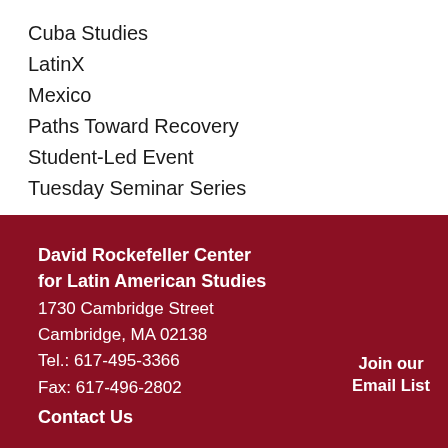Cuba Studies
LatinX
Mexico
Paths Toward Recovery
Student-Led Event
Tuesday Seminar Series
David Rockefeller Center for Latin American Studies
1730 Cambridge Street
Cambridge, MA 02138
Tel.: 617-495-3366
Fax: 617-496-2802
Contact Us
Join our Email List